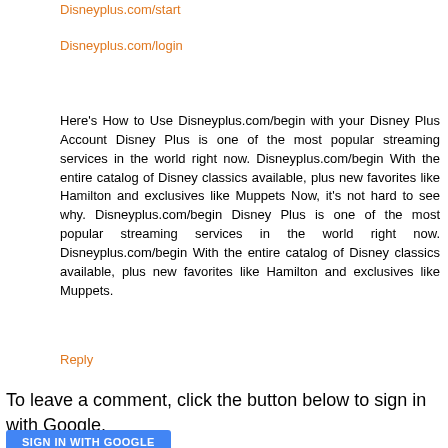Disneyplus.com/start
Disneyplus.com/login
Here's How to Use Disneyplus.com/begin with your Disney Plus Account Disney Plus is one of the most popular streaming services in the world right now. Disneyplus.com/begin With the entire catalog of Disney classics available, plus new favorites like Hamilton and exclusives like Muppets Now, it's not hard to see why. Disneyplus.com/begin Disney Plus is one of the most popular streaming services in the world right now. Disneyplus.com/begin With the entire catalog of Disney classics available, plus new favorites like Hamilton and exclusives like Muppets.
Reply
To leave a comment, click the button below to sign in with Google.
SIGN IN WITH GOOGLE